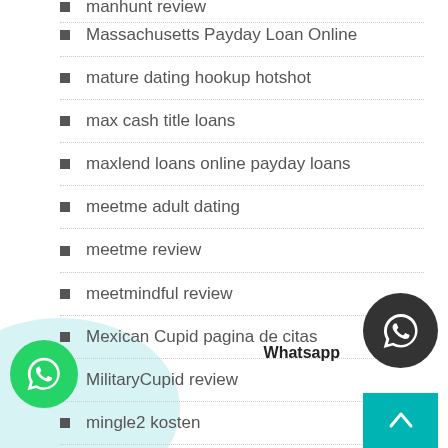manhunt review
Massachusetts Payday Loan Online
mature dating hookup hotshot
max cash title loans
maxlend loans online payday loans
meetme adult dating
meetme review
meetmindful review
Mexican Cupid pagina de citas
MilitaryCupid review
mingle2 kosten
Missouri Payday Loan Online